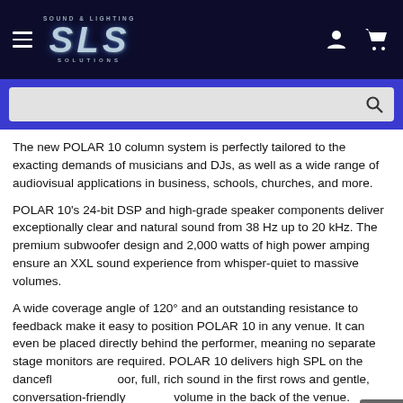Sound & Lighting SLS Solutions
The new POLAR 10 column system is perfectly tailored to the exacting demands of musicians and DJs, as well as a wide range of audiovisual applications in business, schools, churches, and more.
POLAR 10’s 24-bit DSP and high-grade speaker components deliver exceptionally clear and natural sound from 38 Hz up to 20 kHz. The premium subwoofer design and 2,000 watts of high power amping ensure an XXL sound experience from whisper-quiet to massive volumes.
A wide coverage angle of 120° and an outstanding resistance to feedback make it easy to position POLAR 10 in any venue. It can even be placed directly behind the performer, meaning no separate stage monitors are required. POLAR 10 delivers high SPL on the dancefloor, full, rich sound in the first rows and gentle, conversation-friendly volume in the back of the venue.
The onboard 4-channel mixing console offers two mic/line channels,